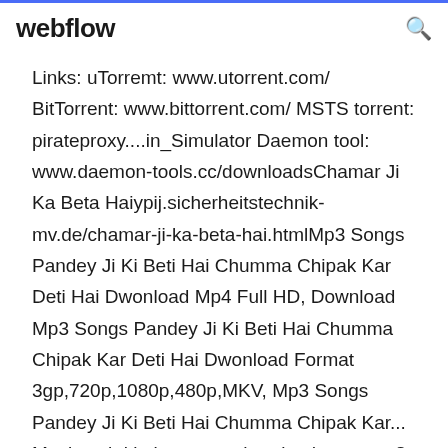webflow
Links: uTorremt: www.utorrent.com/ BitTorrent: www.bittorrent.com/ MSTS torrent: pirateproxy....in_Simulator Daemon tool: www.daemon-tools.cc/downloadsChamar Ji Ka Beta Haiypij.sicherheitstechnik-mv.de/chamar-ji-ka-beta-hai.htmlMp3 Songs Pandey Ji Ki Beti Hai Chumma Chipak Kar Deti Hai Dwonload Mp4 Full HD, Download Mp3 Songs Pandey Ji Ki Beti Hai Chumma Chipak Kar Deti Hai Dwonload Format 3gp,720p,1080p,480p,MKV, Mp3 Songs Pandey Ji Ki Beti Hai Chumma Chipak Kar... Movie subtitle is not synchronized or wrong? Get the full guide here to search and download movie subtitles from Moviesubtitles.org, and then add it to the movie permanently. Don't